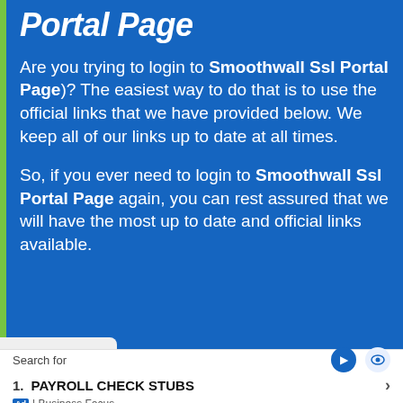Portal Page
Are you trying to login to Smoothwall Ssl Portal Page)? The easiest way to do that is to use the official links that we have provided below. We keep all of our links up to date at all times.
So, if you ever need to login to Smoothwall Ssl Portal Page again, you can rest assured that we will have the most up to date and official links available.
Search for
1. PAYROLL CHECK STUBS
Ad | Business Focus